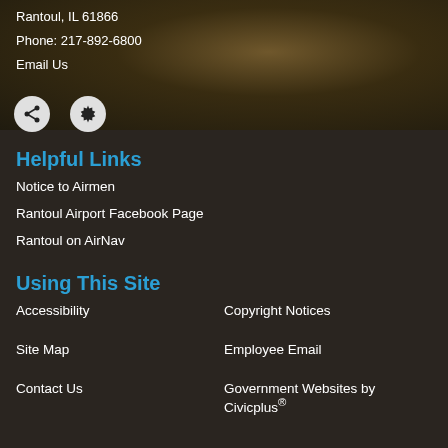Rantoul, IL 61866
Phone: 217-892-6800
Email Us
[Figure (illustration): Two social/utility icons: share icon and settings/gear icon in grey circles on dark background]
Helpful Links
Notice to Airmen
Rantoul Airport Facebook Page
Rantoul on AirNav
Using This Site
Accessibility
Copyright Notices
Site Map
Employee Email
Contact Us
Government Websites by Civicplus®